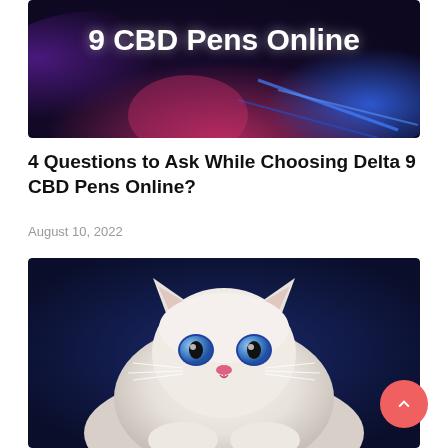[Figure (photo): Dark background banner image with bold white text reading '9 CBD Pens Online' and colorful abstract light streaks in purple, pink and blue]
4 Questions to Ask While Choosing Delta 9 CBD Pens Online?
August 10, 2022
[Figure (photo): Close-up photo of a fluffy white kitten with bright blue eyes and a pink nose, set against a dark blue background]